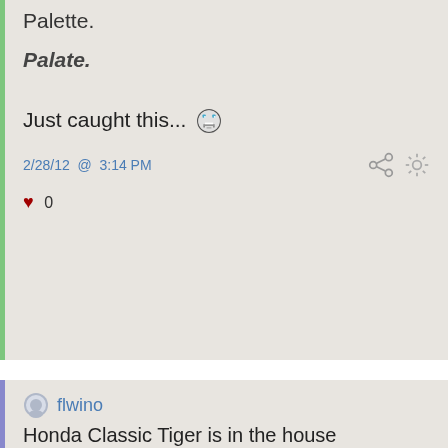Palette.
Palate.
Just caught this... 😬
2/28/12 @ 3:14 PM
♥ 0
flwino
Honda Classic Tiger is in the house
2/29/12 @ 9:55 AM